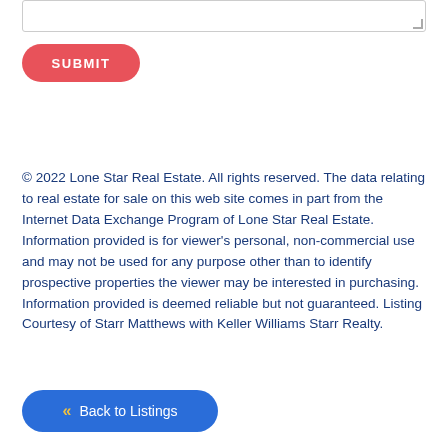[Figure (screenshot): Text area input box with resize handle]
SUBMIT
© 2022 Lone Star Real Estate. All rights reserved. The data relating to real estate for sale on this web site comes in part from the Internet Data Exchange Program of Lone Star Real Estate. Information provided is for viewer's personal, non-commercial use and may not be used for any purpose other than to identify prospective properties the viewer may be interested in purchasing. Information provided is deemed reliable but not guaranteed. Listing Courtesy of Starr Matthews with Keller Williams Starr Realty.
« Back to Listings